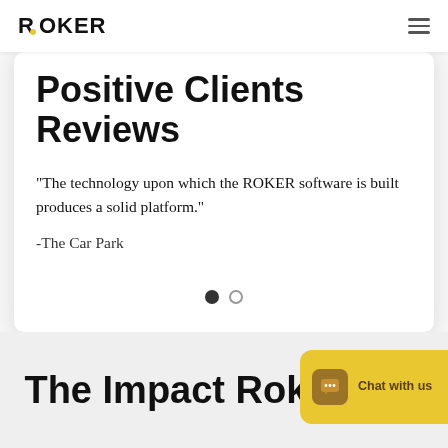ROKER
Positive Clients Reviews
“The technology upon which the ROKER software is built produces a solid platform.”
-The Car Park
The Impact Roker Has